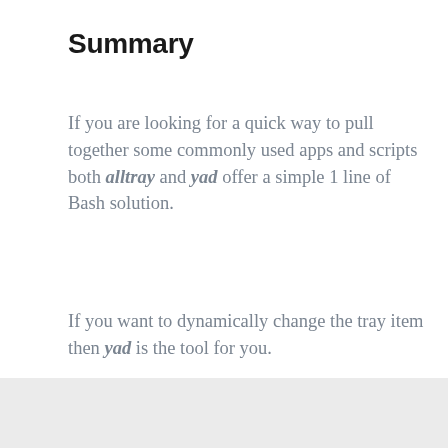Summary
If you are looking for a quick way to pull together some commonly used apps and scripts both alltray and yad offer a simple 1 line of Bash solution.
If you want to dynamically change the tray item then yad is the tool for you.